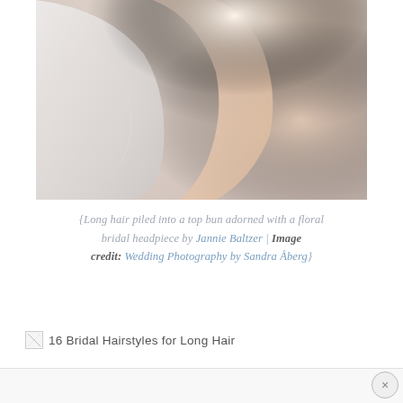[Figure (photo): Close-up photo of a bride's back and shoulder wearing a white lace/beaded wedding dress, with soft warm light in background]
{Long hair piled into a top bun adorned with a floral bridal headpiece by Jannie Baltzer | Image credit: Wedding Photography by Sandra Åberg}
16 Bridal Hairstyles for Long Hair